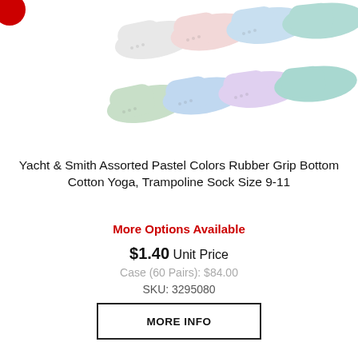[Figure (photo): Multiple pairs of pastel colored rubber grip bottom yoga/trampoline socks arranged in rows]
Yacht & Smith Assorted Pastel Colors Rubber Grip Bottom Cotton Yoga, Trampoline Sock Size 9-11
More Options Available
$1.40 Unit Price
Case (60 Pairs): $84.00
SKU: 3295080
MORE INFO
[Figure (photo): Multiple individual sock packages in various colors hanging, with the Yacht & Smith brand label visible]